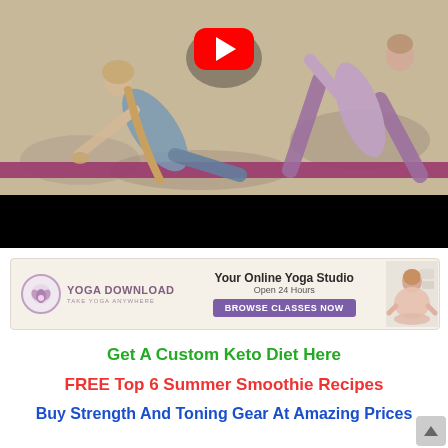[Figure (photo): Two women doing yoga poses outdoors on a purple mat, rocky terrain background, with a YouTube play button overlay in red at the top center. Black bar at bottom of video section.]
[Figure (screenshot): Yoga Download advertisement banner with lotus logo, 'Your Online Yoga Studio Open 24 Hours', purple 'BROWSE CLASSES NOW' button, and a woman meditating photo on the right.]
Get A Custom Keto Diet Here
FREE Top 6 Summer Smoothie Recipes
Buy Strength And Toning Gear At Amazing Prices